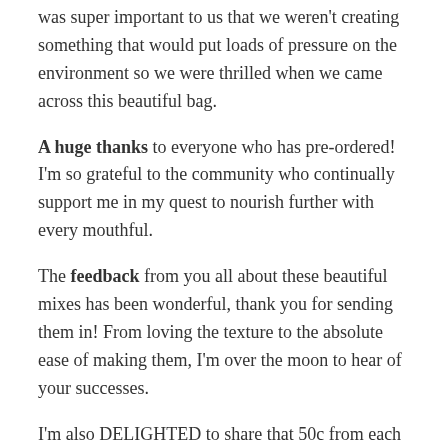was super important to us that we weren't creating something that would put loads of pressure on the environment so we were thrilled when we came across this beautiful bag.
A huge thanks to everyone who has pre-ordered! I'm so grateful to the community who continually support me in my quest to nourish further with every mouthful.
The feedback from you all about these beautiful mixes has been wonderful, thank you for sending them in! From loving the texture to the absolute ease of making them, I'm over the moon to hear of your successes.
I'm also DELIGHTED to share that 50c from each product sold is going directly to OzHarvest, making one meal available to one vulnerable Australian.
In just a few weeks we will have the brownie and muffin mixes available too and I can't wait. The testing is proving these to be DIVINE and as one of my dear friends shared